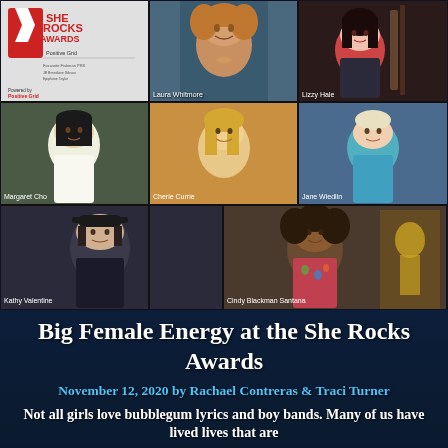[Figure (photo): Screenshot of a virtual video call with multiple participants at the She Rocks Awards: Laura Whitmore, Lizzy Hale (top row), Margaret Cho, Cherie Currie, Jane Wiedlin (middle row), Kathy Valentine, Cindy Blackman Santana (bottom row), plus the She Rocks Awards logo with Positive Grid sponsorship]
Big Female Energy at the She Rocks Awards
November 12, 2020 by Rachael Contreras & Traci Turner
Not all girls love bubblegum lyrics and boy bands. Many of us have lived lives that are